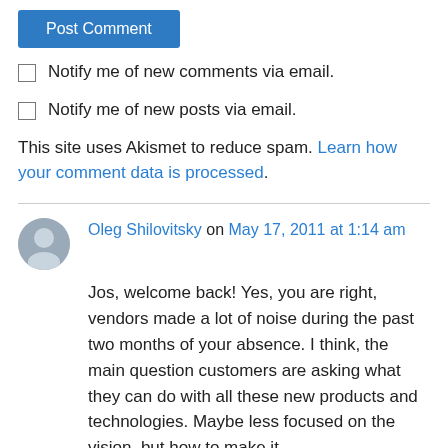Post Comment
Notify me of new comments via email.
Notify me of new posts via email.
This site uses Akismet to reduce spam. Learn how your comment data is processed.
Oleg Shilovitsky on May 17, 2011 at 1:14 am
Jos, welcome back! Yes, you are right, vendors made a lot of noise during the past two months of your absence. I think, the main question customers are asking what they can do with all these new products and technologies. Maybe less focused on the vision, but how to make it